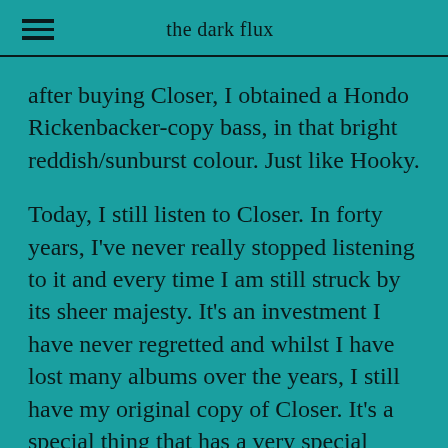the dark flux
after buying Closer, I obtained a Hondo Rickenbacker-copy bass, in that bright reddish/sunburst colour. Just like Hooky.
Today, I still listen to Closer. In forty years, I've never really stopped listening to it and every time I am still struck by its sheer majesty. It's an investment I have never regretted and whilst I have lost many albums over the years, I still have my original copy of Closer. It's a special thing that has a very special place in my